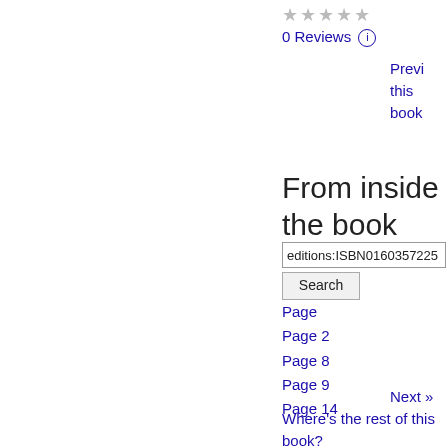★★★★★ (empty stars, 0 Reviews)
0 Reviews ⓘ
Preview this book
From inside the book
editions:ISBN0160357225
Search
Page
Page 2
Page 8
Page 9
Page 14
Next »
Where's the rest of this book?